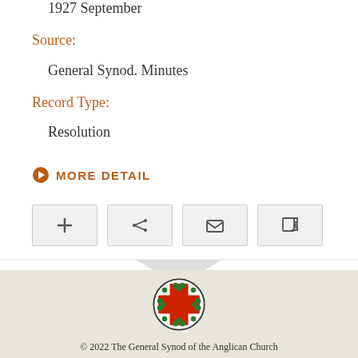1927 September
Source:
General Synod. Minutes
Record Type:
Resolution
MORE DETAIL
[Figure (logo): Anglican Church of Australia cross logo with red cross and green shamrocks in a circle]
© 2022 The General Synod of the Anglican Church